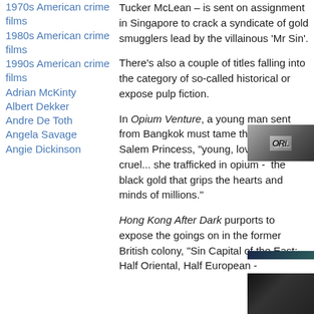1970s American crime films
1980s American crime films
1990s American crime films
Adrian McKinty
Albert Dekker
Andre De Toth
Angela Savage
Angie Dickinson
Tucker McLean – is sent on assignment in Singapore to crack a syndicate of gold smugglers lead by the villainous 'Mr Sin'.
There's also a couple of titles falling into the category of so-called historical or expose pulp fiction.
In Opium Venture, a young man sent from Bangkok must tame the notorious Salem Princess, "young, lovely and cruel... she trafficked in opium -  the black gold that grips the hearts and minds of millions."
Hong Kong After Dark purports to expose the goings on in the former British colony, "Sin Capital of the East: Half Oriental, Half European -
[Figure (photo): Small thumbnail image of a book or movie cover, partially visible, dark and monochrome tones]
[Figure (photo): Dark blue/teal divider or partial image strip]
[Figure (photo): Small dark thumbnail image at bottom right, appears to be a book or film cover]